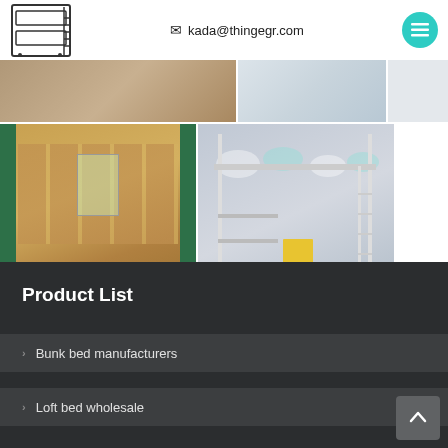kada@thingegr.com
[Figure (photo): Logo icon of bunk bed outline drawing]
[Figure (photo): Partially visible top row of product photos showing bunk beds]
[Figure (photo): Dormitory room with rows of wooden bunk beds and green curtains]
[Figure (photo): Loft bed with metal frame, shelving, and yellow chair against light purple wall]
Product List
Bunk bed manufacturers
Loft bed wholesale